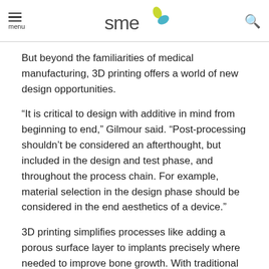menu | SME logo | search
But beyond the familiarities of medical manufacturing, 3D printing offers a world of new design opportunities.
“It is critical to design with additive in mind from beginning to end,” Gilmour said. “Post-processing shouldn’t be considered an afterthought, but included in the design and test phase, and throughout the process chain. For example, material selection in the design phase should be considered in the end aesthetics of a device.”
3D printing simplifies processes like adding a porous surface layer to implants precisely where needed to improve bone growth. With traditional processes, a porous layer would have to be